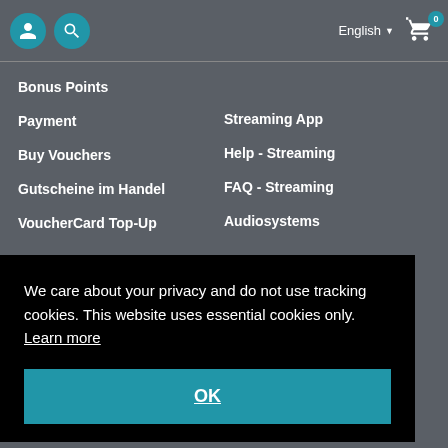Header with user icon, search icon, English language selector, and cart (0)
Bonus Points
Payment
Buy Vouchers
Gutscheine im Handel
VoucherCard Top-Up
Streaming App
Help - Streaming
FAQ - Streaming
Audiosystems
We care about your privacy and do not use tracking cookies. This website uses essential cookies only. Learn more
OK